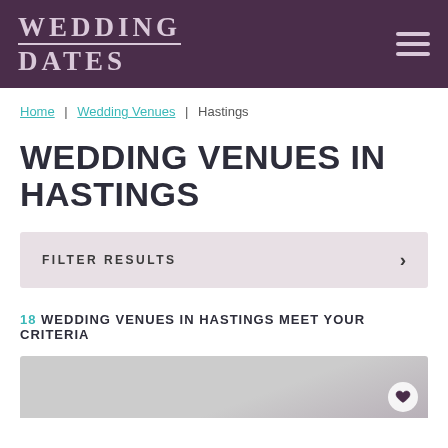[Figure (logo): Wedding Dates logo in white/light text on dark purple background with hamburger menu icon]
Home | Wedding Venues | Hastings
WEDDING VENUES IN HASTINGS
FILTER RESULTS ›
18 WEDDING VENUES IN HASTINGS MEET YOUR CRITERIA
[Figure (photo): Partial view of a wedding venue interior, light grey tones, with a heart/favourite button in the bottom right]